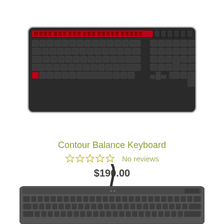[Figure (photo): Black slim keyboard with red function key row at top, viewed from above]
Contour Balance Keyboard
☆☆☆☆☆ No reviews
$190.00
[Figure (photo): Dark gray keyboard with USB cable, viewed from above at slight angle, partially cropped at bottom of page]